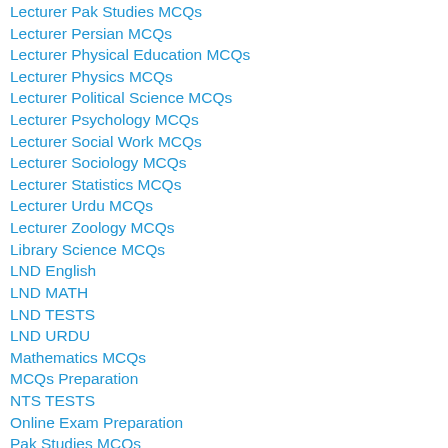Lecturer Pak Studies MCQs
Lecturer Persian MCQs
Lecturer Physical Education MCQs
Lecturer Physics MCQs
Lecturer Political Science MCQs
Lecturer Psychology MCQs
Lecturer Social Work MCQs
Lecturer Sociology MCQs
Lecturer Statistics MCQs
Lecturer Urdu MCQs
Lecturer Zoology MCQs
Library Science MCQs
LND English
LND MATH
LND TESTS
LND URDU
Mathematics MCQs
MCQs Preparation
NTS TESTS
Online Exam Preparation
Pak Studies MCQs